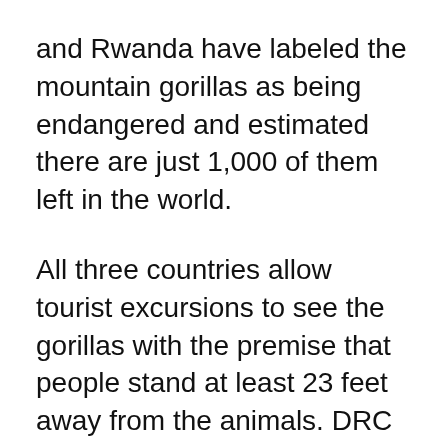and Rwanda have labeled the mountain gorillas as being endangered and estimated there are just 1,000 of them left in the world.
All three countries allow tourist excursions to see the gorillas with the premise that people stand at least 23 feet away from the animals. DRC visitors must are also required to wear face masks during the trip – a rule the government of Uganda will soon enforce.
Gaspard van Hamme, a primate conservationist, and his colleagues from Oxford Brookes University looked at the Instagram pictures of people who went on gorillas excursions since 2013.  They found 643 images where people were closer to the gorillas than the recommended 23 feet, violating the regulations the government set forth. Another 30